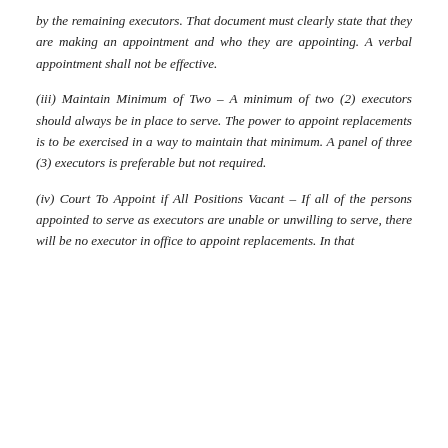by the remaining executors. That document must clearly state that they are making an appointment and who they are appointing. A verbal appointment shall not be effective.
(iii) Maintain Minimum of Two – A minimum of two (2) executors should always be in place to serve. The power to appoint replacements is to be exercised in a way to maintain that minimum. A panel of three (3) executors is preferable but not required.
(iv) Court To Appoint if All Positions Vacant – If all of the persons appointed to serve as executors are unable or unwilling to serve, there will be no executor in office to appoint replacements. In that